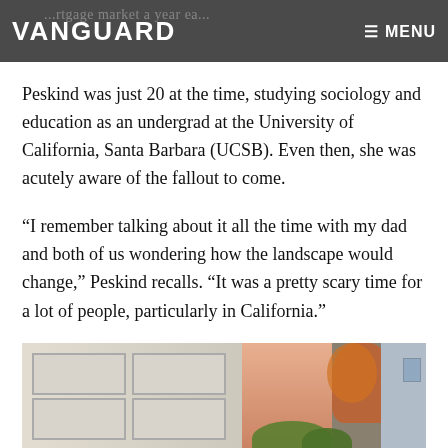VANGUARD | ≡ MENU (background: ...rtgage market a year ea...)
Peskind was just 20 at the time, studying sociology and education as an undergrad at the University of California, Santa Barbara (UCSB). Even then, she was acutely aware of the fallout to come.
“I remember talking about it all the time with my dad and both of us wondering how the landscape would change,” Peskind recalls. “It was a pretty scary time for a lot of people, particularly in California.”
[Figure (photo): Photo of a woman standing outside in front of a house with a garage door, trees with autumn foliage visible in the background.]